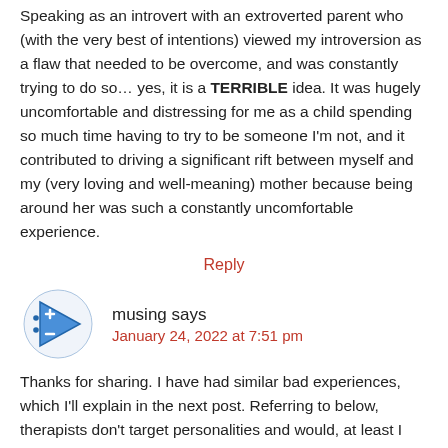Speaking as an introvert with an extroverted parent who (with the very best of intentions) viewed my introversion as a flaw that needed to be overcome, and was constantly trying to do so… yes, it is a TERRIBLE idea. It was hugely uncomfortable and distressing for me as a child spending so much time having to try to be someone I'm not, and it contributed to driving a significant rift between myself and my (very loving and well-meaning) mother because being around her was such a constantly uncomfortable experience.
Reply
musing says
January 24, 2022 at 7:51 pm
Thanks for sharing. I have had similar bad experiences, which I'll explain in the next post. Referring to below, therapists don't target personalities and would, at least I hope, never try to change one's nature, but indirectly they don't realize that they are in fact doing just that. I'll clarify what I mean by sharing my experiences with therapy in